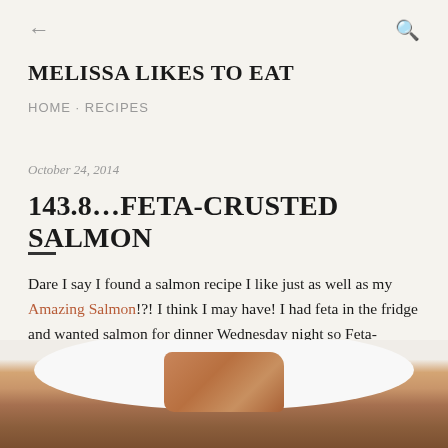← (back) Q (search)
MELISSA LIKES TO EAT
HOME · RECIPES
October 24, 2014
143.8…FETA-CRUSTED SALMON
Dare I say I found a salmon recipe I like just as well as my Amazing Salmon!?! I think I may have! I had feta in the fridge and wanted salmon for dinner Wednesday night so Feta-Crusted Salmon was born.
[Figure (photo): Photo of feta-crusted salmon on a white plate, with purple/dark background visible on sides]